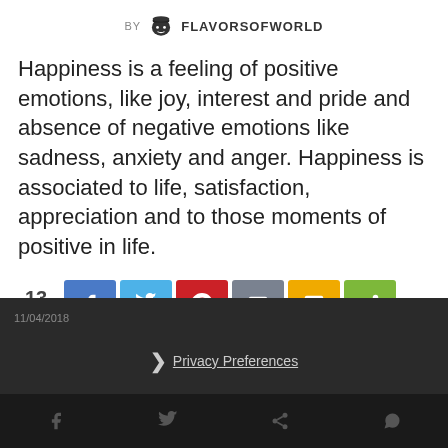BY FLAVORSOFWORLD
Happiness is a feeling of positive emotions, like joy, interest and pride and absence of negative emotions like sadness, anxiety and anger. Happiness is associated to life, satisfaction, appreciation and to those moments of positive in life.
[Figure (infographic): Social share bar showing 13 Shares with buttons for Facebook, Twitter, Pinterest, Email, SMS, and Share]
[Figure (infographic): READ MORE black button]
11/04/2018 | Privacy Preferences | I Agree | Social media icons